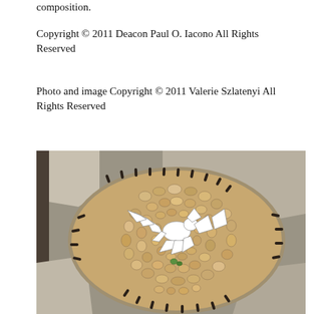composition.
Copyright © 2011 Deacon Paul O. Iacono All Rights Reserved
Photo and image Copyright © 2011 Valerie Szlatenyi All Rights Reserved
[Figure (photo): A pebble mosaic artwork set in a star-like or organic shaped border edged with dark narrow stones. The mosaic features rounded river pebbles in warm tan and beige tones arranged in circular patterns, with a white dove or bird figure made of broken white ceramic/tile pieces in the center, surrounded by leaf-like white tile shapes. A few green and orange accent pieces are visible. The mosaic is set into a sandy or cement ground with larger flagstone pieces visible around the border.]